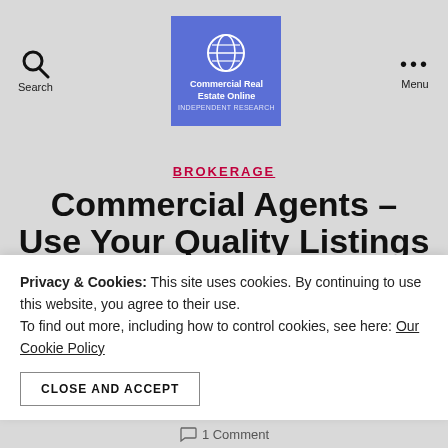[Figure (logo): Commercial Real Estate Online logo: blue square with white globe icon and white text 'Commercial Real Estate Online']
BROKERAGE
Commercial Agents – Use Your Quality Listings
Privacy & Cookies: This site uses cookies. By continuing to use this website, you agree to their use. To find out more, including how to control cookies, see here: Our Cookie Policy
CLOSE AND ACCEPT
1 Comment